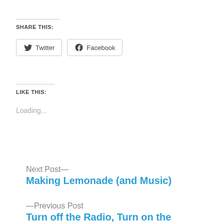SHARE THIS:
Twitter  Facebook
LIKE THIS:
Loading...
Next Post—
Making Lemonade (and Music)
—Previous Post
Turn off the Radio, Turn on the